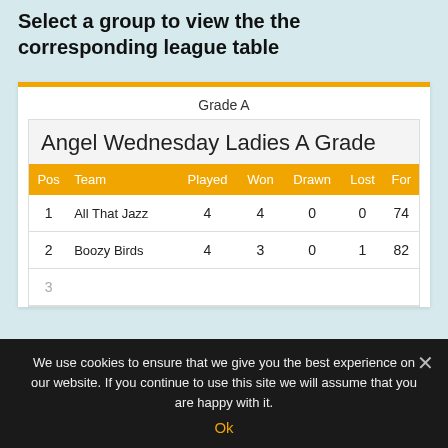Select a group to view the the corresponding league table
Grade A
Angel Wednesday Ladies A Grade
| Pos | Team | Played | Won | Drawn | Lost | For |
| --- | --- | --- | --- | --- | --- | --- |
| 1 | All That Jazz | 4 | 4 | 0 | 0 | 74 |
| 2 | Boozy Birds | 4 | 3 | 0 | 1 | 82 |
| 3 | ... | ... | ... | ... | ... | ... |
We use cookies to ensure that we give you the best experience on our website. If you continue to use this site we will assume that you are happy with it.